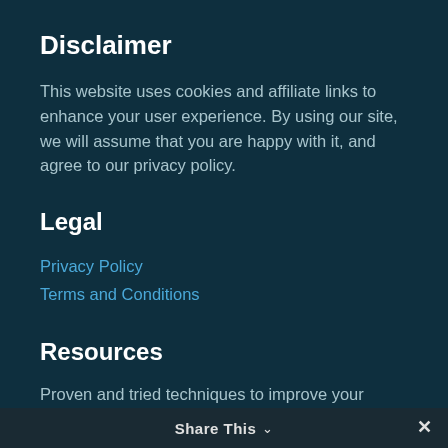Disclaimer
This website uses cookies and affiliate links to enhance your user experience. By using our site, we will assume that you are happy with it, and agree to our privacy policy.
Legal
Privacy Policy
Terms and Conditions
Resources
Proven and tried techniques to improve your business:
Share This ∨   ✕